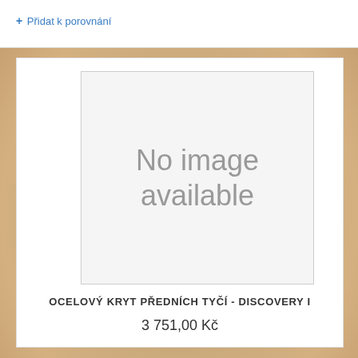+ Přidat k porovnání
[Figure (photo): No image available placeholder box with grey text]
OCELOVÝ KRYT PŘEDNÍCH TYČÍ - DISCOVERY I
3 751,00 Kč